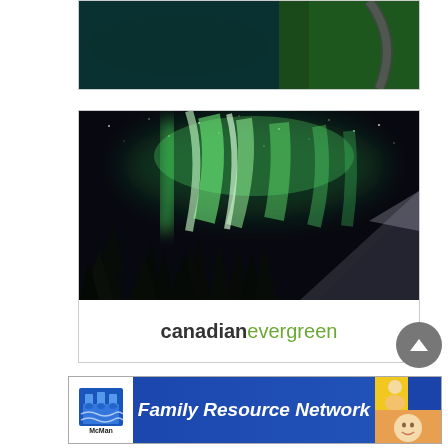[Figure (photo): Aerial view of a dark teal lake with a curved road and pine forest from above]
[Figure (photo): Northern lights (aurora borealis) in green hues over silhouetted spruce trees and a snow-covered mountain at night]
[Figure (logo): canadianevergreen logo — 'canadian' in dark bold text and 'evergreen' in green text]
[Figure (logo): McMan Family Resource Network banner advertisement with blue background, McMan logo on left, italic white text 'Family Resource Network' in center, and two small photos on right]